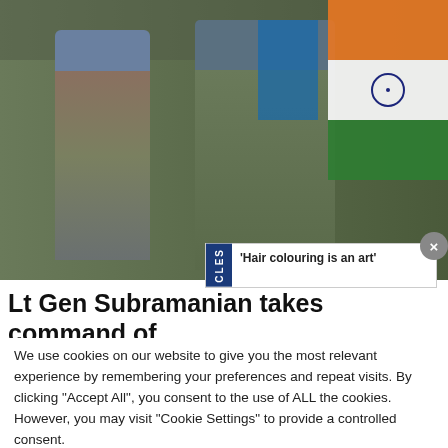[Figure (photo): Military personnel in camouflage uniforms and blue UN berets walking, with flags including the Indian flag visible in the background.]
[Figure (infographic): Popup notification with blue sidebar reading 'CLES' and text: 'Hair colouring is an art' with a close (×) button.]
Lt Gen Subramanian takes command of
We use cookies on our website to give you the most relevant experience by remembering your preferences and repeat visits. By clicking "Accept All", you consent to the use of ALL the cookies. However, you may visit "Cookie Settings" to provide a controlled consent.